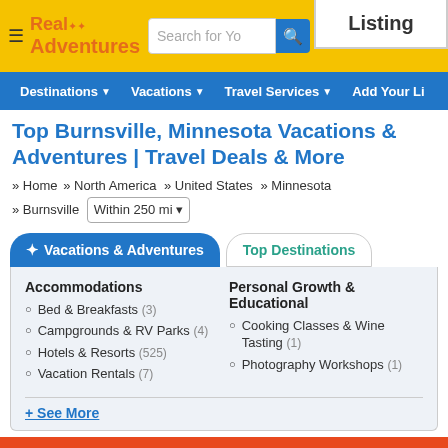Real Adventures | Search for Your Adventure | Listing
Destinations | Vacations | Travel Services | Add Your Listing
Top Burnsville, Minnesota Vacations & Adventures | Travel Deals & More
» Home » North America » United States » Minnesota » Burnsville Within 250 mi
✦ Vacations & Adventures
Top Destinations
Accommodations
Bed & Breakfasts (3)
Campgrounds & RV Parks (4)
Hotels & Resorts (525)
Vacation Rentals (7)
Personal Growth & Educational
Cooking Classes & Wine Tasting (1)
Photography Workshops (1)
+ See More